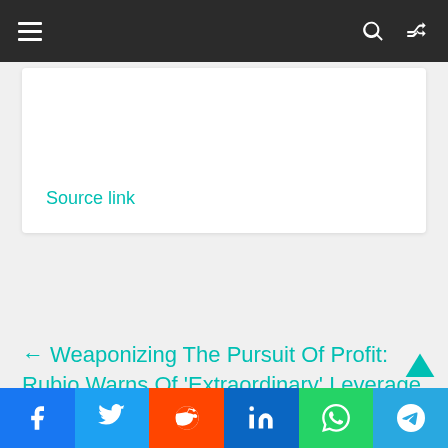Navigation bar with menu, search, and shuffle icons
Source link
← Weaponizing The Pursuit Of Profit: Rubio Warns Of 'Extraordinary' Leverage Held By China Over American Companies
Social share buttons: Facebook, Twitter, Reddit, LinkedIn, WhatsApp, Telegram